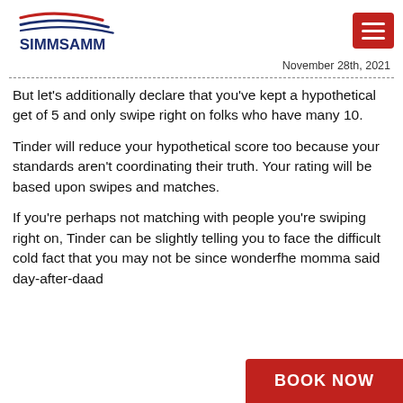SIMMSAMM
November 28th, 2021
But let’s additionally declare that you’ve kept a hypothetical get of 5 and only swipe right on folks who have many 10.
Tinder will reduce your hypothetical score too because your standards aren’t coordinating their truth. Your rating will be based upon swipes and matches.
If you’re perhaps not matching with people you’re swiping right on, Tinder can be slightly telling you to face the difficult cold fact that you may not be since wonderf—he momma said day-after-da—ad